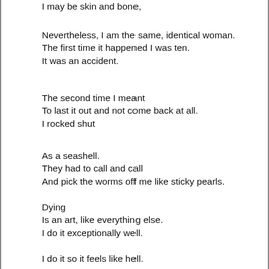I may be skin and bone,
Nevertheless, I am the same, identical woman.
The first time it happened I was ten.
It was an accident.
The second time I meant
To last it out and not come back at all.
I rocked shut
As a seashell.
They had to call and call
And pick the worms off me like sticky pearls.
Dying
Is an art, like everything else.
I do it exceptionally well.
I do it so it feels like hell.